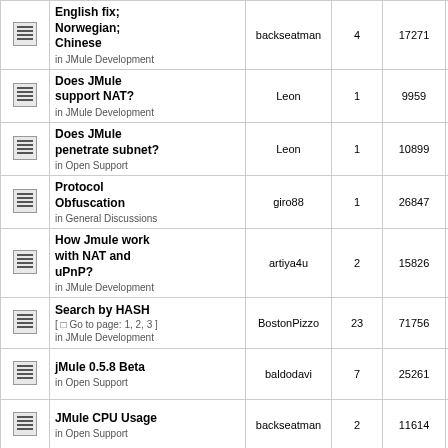|  | Topic | Author | Replies | Views | Last Post |
| --- | --- | --- | --- | --- | --- |
| [icon] | English fix; Norwegian; Chinese
in JMule Development | backseatman | 4 | 17271 | Fri Oct 29, 2
4:29 pm
javajox → |
| [icon] | Does JMule support NAT?
in JMule Development | Leon | 1 | 9959 | Thu Oct 28, 
4:56 pm
javajox → |
| [icon] | Does JMule penetrate subnet?
in Open Support | Leon | 1 | 10899 | Mon Oct 18, 
2:54 pm
Leon → |
| [icon] | Protocol Obfuscation
in General Discussions | giro88 | 1 | 26847 | Thu Oct 07, 
5:18 pm
binary256 |
| [icon] | How Jmule work with NAT and uPnP?
in JMule Development | artiya4u | 2 | 15826 | Wed Jun 3
2010 8:52 
artiya4u → |
| [icon] | Search by HASH
[ Go to page: 1, 2, 3 ]
in JMule Development | BostonPizzo | 23 | 71756 | Sun Jun 27, 
6:59 pm
pepelux → |
| [icon] | jMule 0.5.8 Beta
in Open Support | baldodavi | 7 | 25261 | Mon May 1
2010 1:15 
binary256 |
| [icon] | JMule CPU Usage
in Open Support | backseatman | 2 | 11614 | Mon Apr 19, 
6:20 pm
backseatman |
| [icon] | Secure Identification in
... |  |  |  | Wed Mar 1
2010 8:26 |